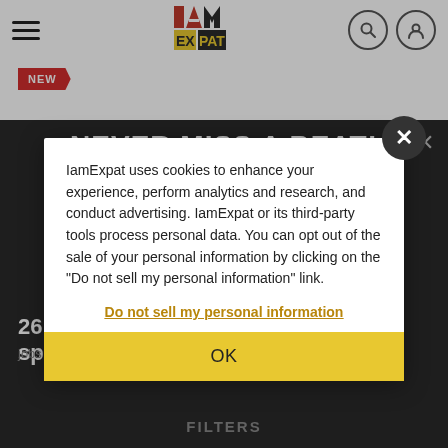IamExpat header with hamburger menu, logo, search and user icons
[Figure (logo): IamExpat logo in red, yellow and dark colors]
NEW
NEVER MISS A BEAT!
Like us on Facebook to stay up to date
26 Finance / Accounting English-speaking jobs
IamExpat uses cookies to enhance your experience, perform analytics and research, and conduct advertising. IamExpat or its third-party tools process personal data. You can opt out of the sale of your personal information by clicking on the "Do not sell my personal information" link.
Do not sell my personal information
OK
FILTERS